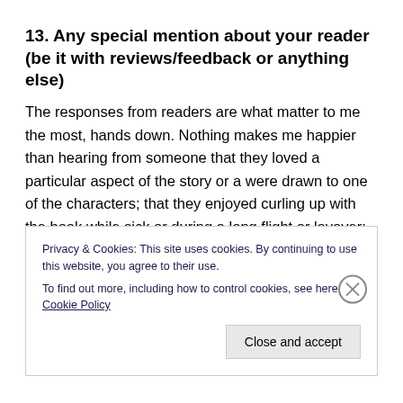13. Any special mention about your reader (be it with reviews/feedback or anything else)
The responses from readers are what matter to me the most, hands down. Nothing makes me happier than hearing from someone that they loved a particular aspect of the story or a were drawn to one of the characters; that they enjoyed curling up with the book while sick or during a long flight or layover; that they couldn't put it down, and had to race to the end! To be able to share this story that
Privacy & Cookies: This site uses cookies. By continuing to use this website, you agree to their use.
To find out more, including how to control cookies, see here: Cookie Policy